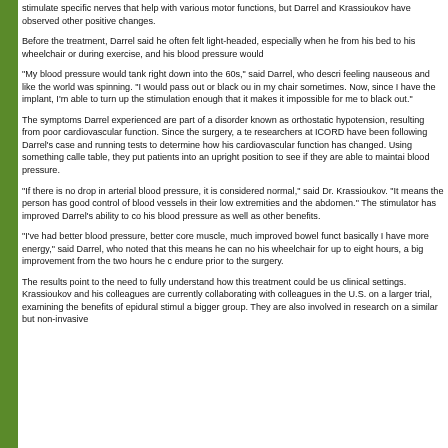stimulate specific nerves that help with various motor functions, but Darrel and Krassioukov have observed other positive changes.
Before the treatment, Darrel said he often felt light-headed, especially when he from his bed to his wheelchair or during exercise, and his blood pressure would
"My blood pressure would tank right down into the 60s," said Darrel, who descri feeling nauseous and like the world was spinning. "I would pass out or black ou in my chair sometimes. Now, since I have the implant, I'm able to turn up the stimulation enough that it makes it impossible for me to black out."
The symptoms Darrel experienced are part of a disorder known as orthostatic hypotension, resulting from poor cardiovascular function. Since the surgery, a te researchers at ICORD have been following Darrel's case and running tests to determine how his cardiovascular function has changed. Using something calle table, they put patients into an upright position to see if they are able to maintai blood pressure.
"If there is no drop in arterial blood pressure, it is considered normal," said Dr. Krassioukov. "It means the person has good control of blood vessels in their low extremities and the abdomen." The stimulator has improved Darrel's ability to co his blood pressure as well as other benefits.
"I've had better blood pressure, better core muscle, much improved bowel funct basically I have more energy," said Darrel, who noted that this means he can no his wheelchair for up to eight hours, a big improvement from the two hours he c endure prior to the surgery.
The results point to the need to fully understand how this treatment could be us clinical settings. Krassioukov and his colleagues are currently collaborating with colleagues in the U.S. on a larger trial, examining the benefits of epidural stimul a bigger group. They are also involved in research on a similar but non-invasive